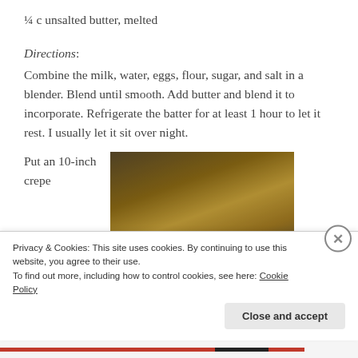¼ c unsalted butter, melted
Directions:
Combine the milk, water, eggs, flour, sugar, and salt in a blender. Blend until smooth. Add butter and blend it to incorporate. Refrigerate the batter for at least 1 hour to let it rest. I usually let it sit over night.
Put an 10-inch crepe
[Figure (photo): A 10-inch crepe pan on a stove with a cooked crepe and a spatula beside a bowl]
Privacy & Cookies: This site uses cookies. By continuing to use this website, you agree to their use.
To find out more, including how to control cookies, see here: Cookie Policy
Close and accept